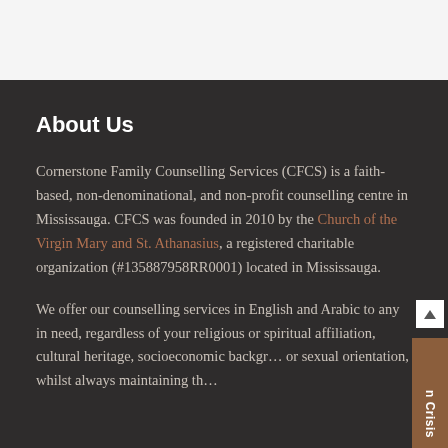About Us
Cornerstone Family Counselling Services (CFCS) is a faith-based, non-denominational, and non-profit counselling centre in Mississauga. CFCS was founded in 2010 by the Church of the Virgin Mary and St. Athanasius, a registered charitable organization (#135887958RR0001) located in Mississauga.
We offer our counselling services in English and Arabic to any in need, regardless of your religious or spiritual affiliation, cultural heritage, socioeconomic background or sexual orientation, whilst always maintaining the guidelines of the Canadian Counselling...